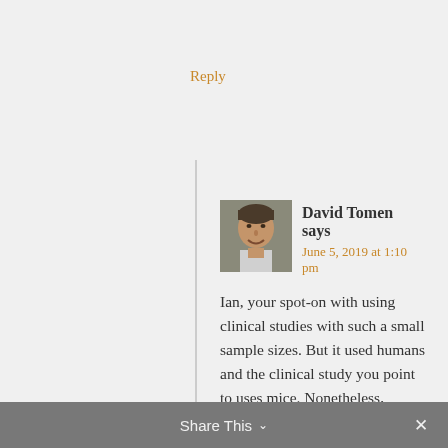Reply
David Tomen says
June 5, 2019 at 1:10 pm
Ian, your spot-on with using clinical studies with such a small sample sizes. But it used humans and the clinical study you point to uses mice. Nonetheless, thanks for the suggestion.
Reply
Share This ∨  ×